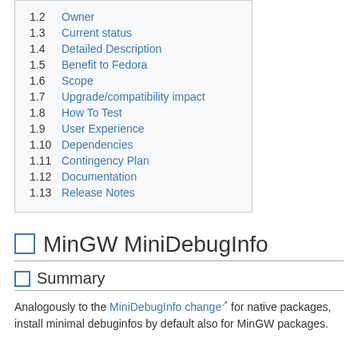1.2 Owner
1.3 Current status
1.4 Detailed Description
1.5 Benefit to Fedora
1.6 Scope
1.7 Upgrade/compatibility impact
1.8 How To Test
1.9 User Experience
1.10 Dependencies
1.11 Contingency Plan
1.12 Documentation
1.13 Release Notes
MinGW MiniDebugInfo
Summary
Analogously to the MiniDebugInfo change for native packages, install minimal debuginfos by default also for MinGW packages.